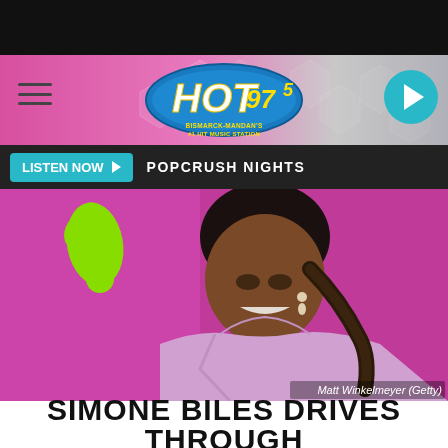HOT 97.5 — Bismarck-Mandan's #1 Hit Music Station
LISTEN NOW ▶  POPCRUSH NIGHTS
[Figure (photo): Simone Biles smiling at the Nickelodeon Kids Choice Awards on a magenta/pink background, wearing a lavender dress with diamond drop earrings, braided ponytail. Photo credit: Matt Winkelmeyer (Getty)]
Matt Winkelmeyer (Getty)
SIMONE BILES DRIVES THROUGH